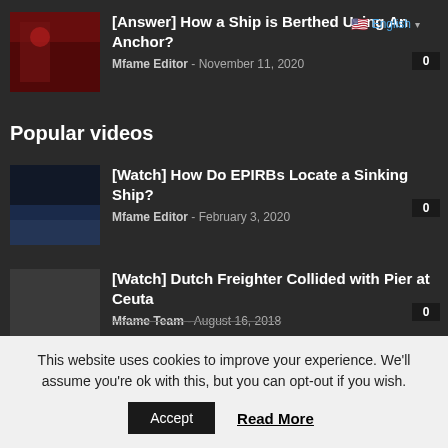[Figure (photo): Thumbnail image of ship berthing with red equipment]
[Answer] How a Ship is Berthed Using An Anchor?
Mfame Editor - November 11, 2020
Popular videos
[Figure (photo): Dark thumbnail image for EPIRB video]
[Watch] How Do EPIRBs Locate a Sinking Ship?
Mfame Editor - February 3, 2020
[Watch] Dutch Freighter Collided with Pier at Ceuta
Mfame Team - August 16, 2018
This website uses cookies to improve your experience. We'll assume you're ok with this, but you can opt-out if you wish.
Accept   Read More